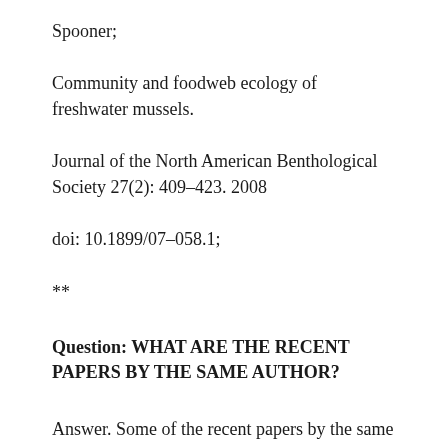Spooner;
Community and foodweb ecology of freshwater mussels.
Journal of the North American Benthological Society 27(2): 409–423. 2008
doi: 10.1899/07–058.1;
**
Question: WHAT ARE THE RECENT PAPERS BY THE SAME AUTHOR?
Answer. Some of the recent papers by the same